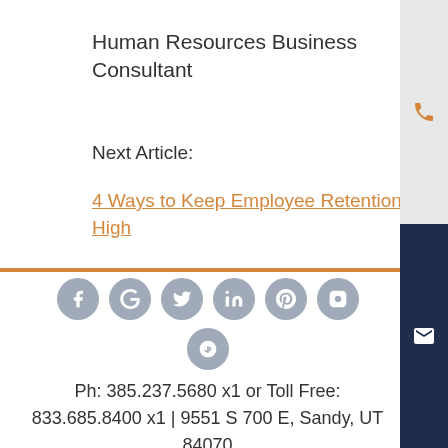Human Resources Business Consultant
Next Article:
4 Ways to Keep Employee Retention High
[Figure (infographic): Row of 6 social media icons (Facebook, Google, Twitter, LinkedIn, Pinterest, Instagram) as circular grey buttons, and one Yelp icon below]
Ph: 385.237.5680 x1 or Toll Free: 833.685.8400 x1 | 9551 S 700 E, Sandy, UT 84070